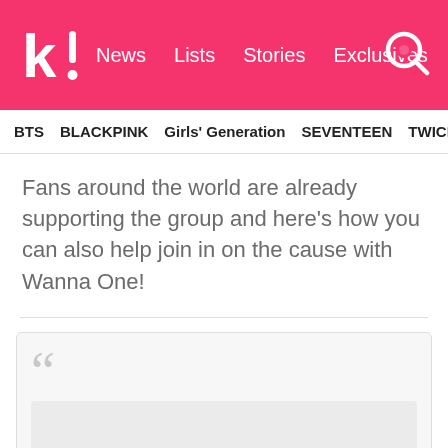k! News Lists Stories Exclusives
BTS  BLACKPINK  Girls' Generation  SEVENTEEN  TWICE
Fans around the world are already supporting the group and here's how you can also help join in on the cause with Wanna One!
[Figure (other): Large quotation marks icon above an empty embedded content box, indicating a blockquote or embedded tweet/post placeholder]